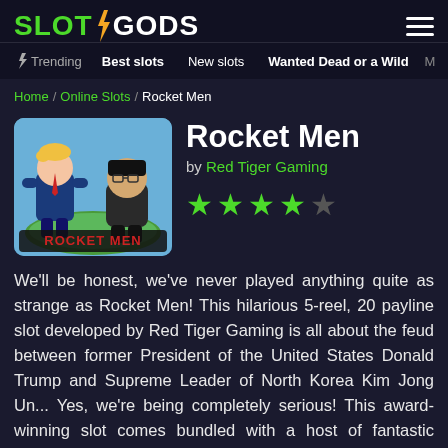SLOTGODS — navigation header with logo and hamburger menu
Trending  Best slots  New slots  Wanted Dead or a Wild  M
Home / Online Slots / Rocket Men
[Figure (illustration): Cartoon illustration of two caricature figures (Trump and Kim Jong Un) standing on a globe, with 'ROCKET MEN' text banner at the bottom]
Rocket Men
by Red Tiger Gaming
[Figure (other): 4 out of 5 star rating shown as green filled stars and one grey star]
We'll be honest, we've never played anything quite as strange as Rocket Men! This hilarious 5-reel, 20 payline slot developed by Red Tiger Gaming is all about the feud between former President of the United States Donald Trump and Supreme Leader of North Korea Kim Jong Un... Yes, we're being completely serious! This award-winning slot comes bundled with a host of fantastic bonus